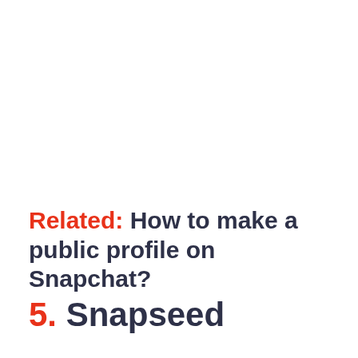Related: How to make a public profile on Snapchat?
5. Snapseed